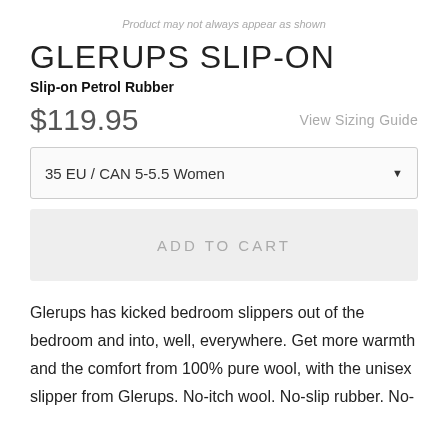Product may not always appear as shown
GLERUPS SLIP-ON
Slip-on Petrol Rubber
$119.95
View Sizing Guide
35 EU / CAN 5-5.5 Women
ADD TO CART
Glerups has kicked bedroom slippers out of the bedroom and into, well, everywhere. Get more warmth and the comfort from 100% pure wool, with the unisex slipper from Glerups. No-itch wool. No-slip rubber. No-